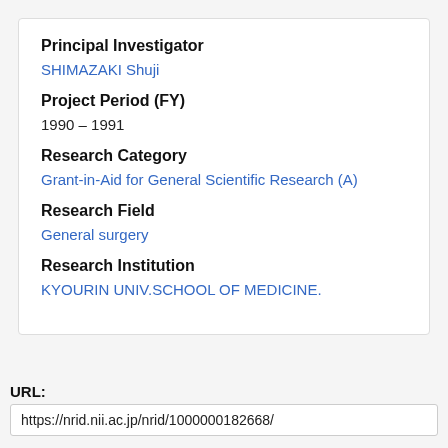Principal Investigator
SHIMAZAKI Shuji
Project Period (FY)
1990 – 1991
Research Category
Grant-in-Aid for General Scientific Research (A)
Research Field
General surgery
Research Institution
KYOURIN UNIV.SCHOOL OF MEDICINE.
URL:
https://nrid.nii.ac.jp/nrid/1000000182668/